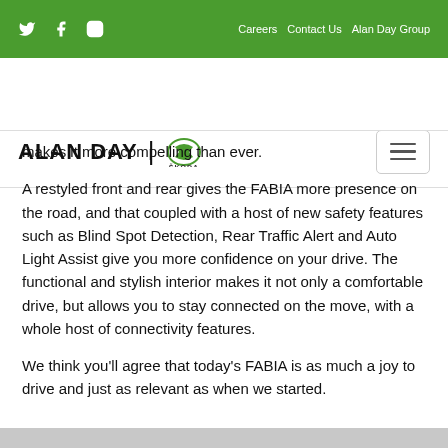Twitter | Facebook | Instagram | Careers | Contact Us | Alan Day Group
[Figure (logo): Alan Day | Skoda logo with hamburger menu button]
makes it more compelling than ever.
A restyled front and rear gives the FABIA more presence on the road, and that coupled with a host of new safety features such as Blind Spot Detection, Rear Traffic Alert and Auto Light Assist give you more confidence on your drive. The functional and stylish interior makes it not only a comfortable drive, but allows you to stay connected on the move, with a whole host of connectivity features.
We think you'll agree that today's FABIA is as much a joy to drive and just as relevant as when we started.